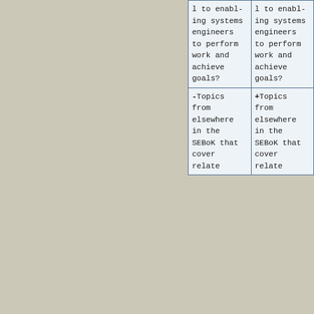| l to enabling systems engineers to perform work and achieve goals? | l to enabling systems engineers to perform work and achieve goals? |
| -Topics from elsewhere in the SEBoK that cover relate | +Topics from elsewhere in the SEBoK that cover relate |